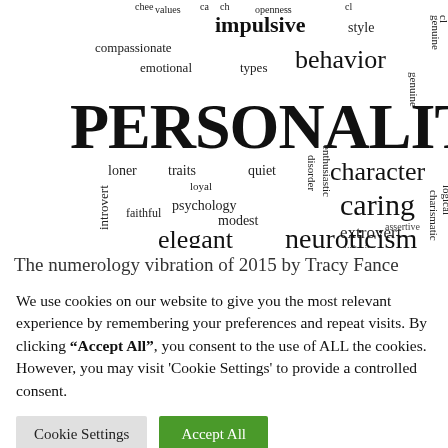[Figure (infographic): A word cloud with personality-related terms in various sizes and orientations. Large words include PERSONALITY, impulsive, behavior, character, caring, neuroticism. Other words include openness, style, compassionate, emotional, types, genuine, loner, traits, introvert, quiet, loyal, faithful, psychology, disorder, enthusiastic, modest, extrovert, curiosity, elegant, charismatic, assertive, logical, conscientiousness.]
The numerology vibration of 2015 by Tracy Fance
We use cookies on our website to give you the most relevant experience by remembering your preferences and repeat visits. By clicking “Accept All”, you consent to the use of ALL the cookies. However, you may visit 'Cookie Settings' to provide a controlled consent.